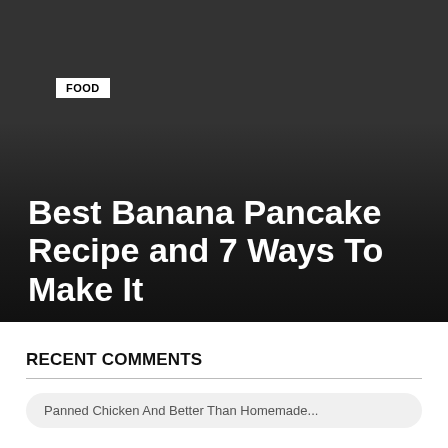[Figure (photo): Dark background hero image area with gradient overlay, showing a food blog article header]
FOOD
Best Banana Pancake Recipe and 7 Ways To Make It
RECENT COMMENTS
Panned Chicken And Better Than Homemade...